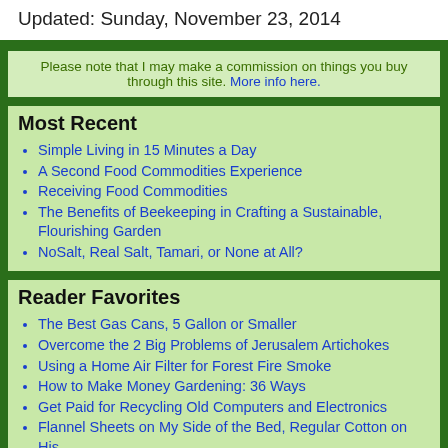Updated: Sunday, November 23, 2014
Please note that I may make a commission on things you buy through this site. More info here.
Most Recent
Simple Living in 15 Minutes a Day
A Second Food Commodities Experience
Receiving Food Commodities
The Benefits of Beekeeping in Crafting a Sustainable, Flourishing Garden
NoSalt, Real Salt, Tamari, or None at All?
Reader Favorites
The Best Gas Cans, 5 Gallon or Smaller
Overcome the 2 Big Problems of Jerusalem Artichokes
Using a Home Air Filter for Forest Fire Smoke
How to Make Money Gardening: 36 Ways
Get Paid for Recycling Old Computers and Electronics
Flannel Sheets on My Side of the Bed, Regular Cotton on His
My Favorite Flash Lights